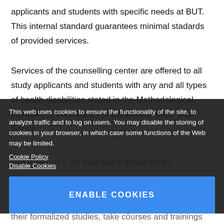applicants and students with specific needs at BUT. This internal standard guarantees minimal stadards of provided services.
Services of the counselling center are offered to all study applicants and students with any and all types of health disabilities stated in the Methodological standard of the Ministry of Education, Youth and Sports.
AVAILABILITY OF FURTHER EDUCATION
The study programme builds on both the ongoing follow-up programme in Information Technology and the new follow-up Master's programme in Information
their formalized studies, take courses and trainings related
This web uses cookies to ensure the functionality of the site, to analyze traffic and to log on users. You may disable the storing of cookies in your browser, in which case some functions of the Web may be limited.
Cookie Policy
Disable Cookies
ENABLE COOKIES